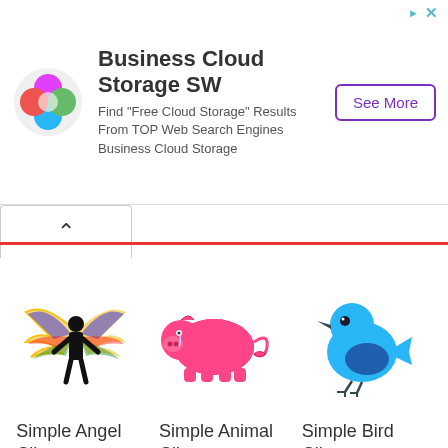[Figure (illustration): Advertisement banner: Business Cloud Storage SW with logo, description text, and See More button]
[Figure (illustration): Navigation bar with chevron up arrow]
[Figure (illustration): Simple Angel Clipart: black silhouette figure with colorful butterfly wings]
Simple Angel Clipart
[Figure (illustration): Simple Animal Clipart: pink cartoon pig with curly tail]
Simple Animal Clipart
[Figure (illustration): Simple Bird Clipart: blue cartoon bird with dark blue wing]
Simple Bird Clipart